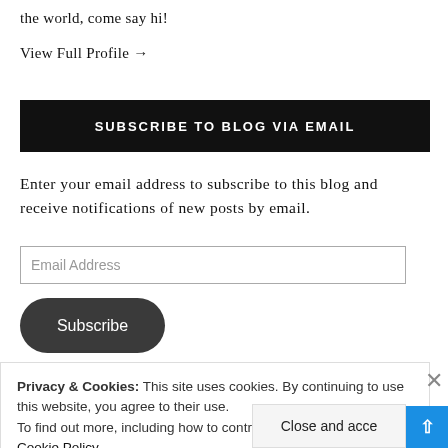the world, come say hi!
View Full Profile →
SUBSCRIBE TO BLOG VIA EMAIL
Enter your email address to subscribe to this blog and receive notifications of new posts by email.
Email Address
Subscribe
Privacy & Cookies: This site uses cookies. By continuing to use this website, you agree to their use.
To find out more, including how to control cookies, see here: Cookie Policy
Close and acce